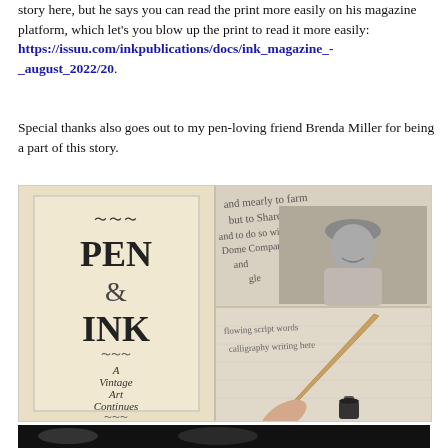story here, but he says you can read the print more easily on his magazine platform, which let's you blow up the print to read it more easily: https://issuu.com/inkpublications/docs/ink_magazine_-_august_2022/20.
Special thanks also goes out to my pen-loving friend Brenda Miller for being a part of this story.
[Figure (photo): Collage of images related to 'Pen & Ink: A Vintage Art Continues' — left panel shows a vintage book cover with large serif text reading PEN & INK A Vintage Art Continues; top right panel shows handwritten cursive text overlapping with a black-and-white photo of a man in a hat; bottom right panel shows a hand holding a quill pen writing on paper with an ink bottle nearby.]
[Figure (photo): Dark image strip at the bottom, partially cut off.]